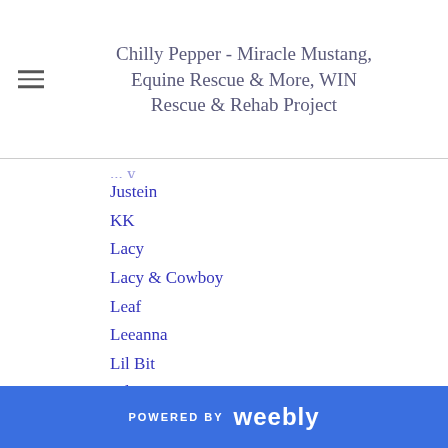Chilly Pepper - Miracle Mustang, Equine Rescue & More, WIN Rescue & Rehab Project
Justein
KK
Lacy
Lacy & Cowboy
Leaf
Leeanna
Lil Bit
Lil Jo
Little Mister
Little Orphan Annie
Love's Legacy
LRTC
Luckee
Lucky
Luna
POWERED BY weebly